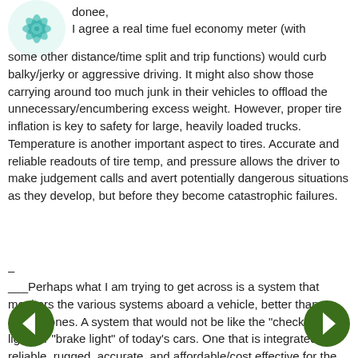[Figure (illustration): Circular avatar icon with teal/turquoise snowflake or mandala pattern]
donee,
I agree a real time fuel economy meter (with some other distance/time split and trip functions) would curb balky/jerky or aggressive driving. It might also show those carrying around too much junk in their vehicles to offload the unnecessary/encumbering excess weight. However, proper tire inflation is key to safety for large, heavily loaded trucks. Temperature is another important aspect to tires. Accurate and reliable readouts of tire temp, and pressure allows the driver to make judgement calls and avert potentially dangerous situations as they develop, but before they become catastrophic failures.
–
___Perhaps what I am trying to get across is a system that monitors the various systems aboard a vehicle, better than current ones. A system that would not be like the "check engine light" or "brake light" of today's cars. One that is integrated, reliable, rugged, accurate, and affordable/cost effective for the majority of auto/truck owners. One that will notify the operator something is
[Figure (illustration): Green circle navigation arrow button pointing left]
[Figure (illustration): Green circle navigation arrow button pointing right]